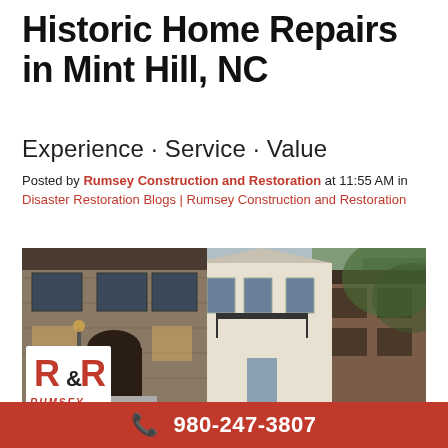Historic Home Repairs in Mint Hill, NC
Experience · Service · Value
Posted by Rumsey Construction and Restoration at 11:55 AM in Disaster Restoration Blogs | Rumsey Construction and Restoration
[Figure (photo): Row of historic homes with stone and brick facades, balconies, arched doorways, and trees in background. Rumsey Construction and Restoration R&R logo visible in lower left corner.]
980-247-3807